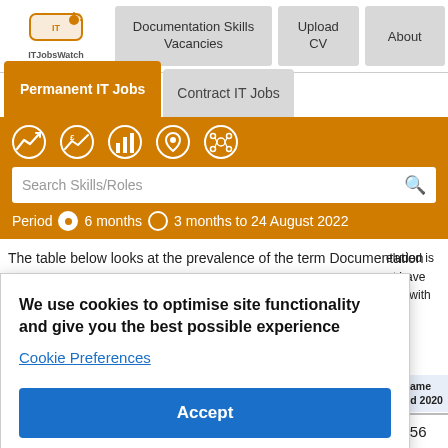[Figure (screenshot): ITJobsWatch website header with logo, navigation buttons for Documentation Skills Vacancies, Upload CV, About, tab row with Permanent IT Jobs (active) and Contract IT Jobs, icon toolbar row, search bar, and period selector showing 6 months and 3 months to 24 August 2022]
The table below looks at the prevalence of the term Documentation
We use cookies to optimise site functionality and give you the best possible experience
Cookie Preferences
Accept
| Rank |  | 272 | 241 | 156 |
| --- | --- | --- | --- | --- |